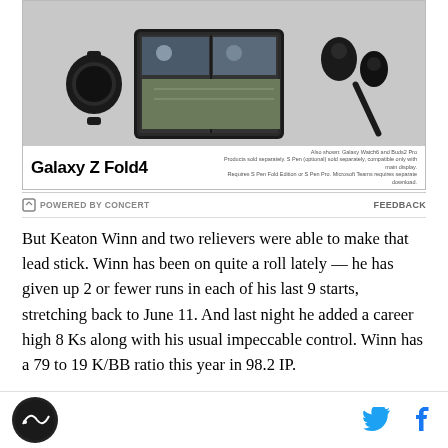[Figure (photo): Samsung Galaxy Z Fold4 advertisement showing the foldable phone, a Galaxy Watch, Buds2 Pro earbuds, and S Pen. Text reads 'Galaxy Z Fold4'. Disclaimer: 'Also shown: Galaxy Watch6 and Buds2 Pro. Products sold separately. S Pen (optional) sold separately, compatible only with main display. Requires S Pen Fold Edition or S Pen Pro. Microsoft Teams requires separate download.']
POWERED BY CONCERT  FEEDBACK
But Keaton Winn and two relievers were able to make that lead stick. Winn has been on quite a roll lately — he has given up 2 or fewer runs in each of his last 9 starts, stretching back to June 11. And last night he added a career high 8 Ks along with his usual impeccable control. Winn has a 79 to 19 K/BB ratio this year in 98.2 IP.
The night ended with erstwhile power hitting OF Dylan
SB Nation logo, Twitter icon, Facebook icon